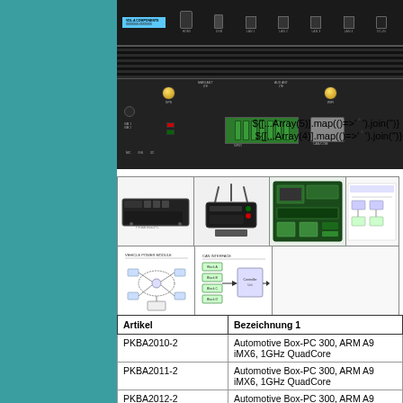[Figure (photo): Automotive Box-PC device shown from top and bottom angles — top view shows HDMI, USB, LAN1-LAN4, DC-IN ports; bottom view shows GPS, MAIN ANT, AUX ANT, WIFI antenna connectors, GPIO terminal block, CAN/COM DB9 connector, and LED indicators]
[Figure (photo): Grid of 6 thumbnail images showing the automotive box-PC product, a router device, a circuit board, a partially visible diagram, a network topology diagram, and a block diagram]
| Artikel | Bezeichnung 1 |
| --- | --- |
| PKBA2010-2 | Automotive Box-PC 300, ARM A9 iMX6, 1GHz QuadCore |
| PKBA2011-2 | Automotive Box-PC 300, ARM A9 iMX6, 1GHz QuadCore |
| PKBA2012-2 | Automotive Box-PC 300, ARM A9 iMX6, 1GHz DualCore |
| PKBA2013-2 | Automotive Box-PC 300, ARM A9 iMX6, 1GHz DualCore |